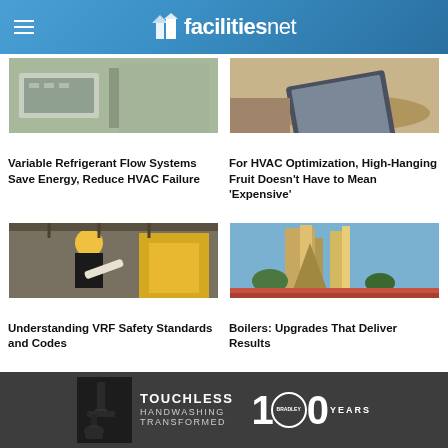facilitiesnet
[Figure (photo): Outdoor HVAC rooftop unit]
Variable Refrigerant Flow Systems Save Energy, Reduce HVAC Failure
[Figure (photo): Person using tablet device]
For HVAC Optimization, High-Hanging Fruit Doesn't Have to Mean 'Expensive'
[Figure (photo): Worker in hard hat reviewing blueprints in warehouse]
Understanding VRF Safety Standards and Codes
[Figure (photo): Modern building with tall architectural towers]
Boilers: Upgrades That Deliver Results
[Figure (infographic): Advertisement: Touchless Handwashing Transformed - Bradley 100 Years]